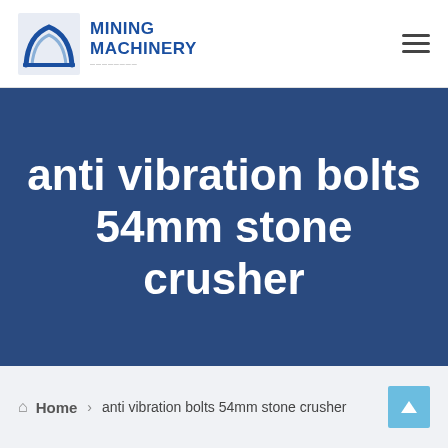MINING MACHINERY
anti vibration bolts 54mm stone crusher
Home > anti vibration bolts 54mm stone crusher